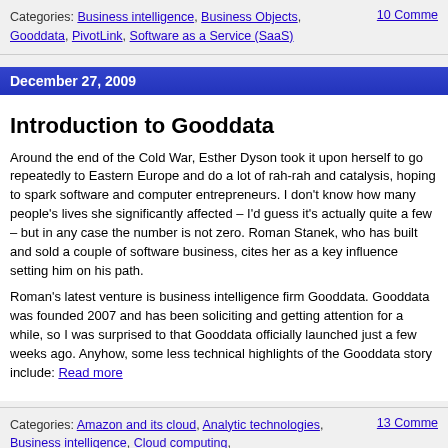Categories: Business intelligence, Business Objects, Gooddata, PivotLink, Software as a Service (SaaS)
10 Comments
December 27, 2009
Introduction to Gooddata
Around the end of the Cold War, Esther Dyson took it upon herself to go repeatedly to Eastern Europe and do a lot of rah-rah and catalysis, hoping to spark software and computer entrepreneurs. I don't know how many people's lives she significantly affected – I'd guess it's actually quite a few – but in any case the number is not zero. Roman Stanek, who has built and sold a couple of software business, cites her as a key influence setting him on his path.
Roman's latest venture is business intelligence firm Gooddata. Gooddata was founded 2007 and has been soliciting and getting attention for a while, so I was surprised to that Gooddata officially launched just a few weeks ago. Anyhow, some less technical highlights of the Gooddata story include: Read more
Categories: Amazon and its cloud, Analytic technologies, Business intelligence, Cloud computing, Games and virtual worlds, Gooddata, Jaspersoft, Market share and customer counts, Memory-centric data management, Pricing, Software as a Service (SaaS)
13 Comments